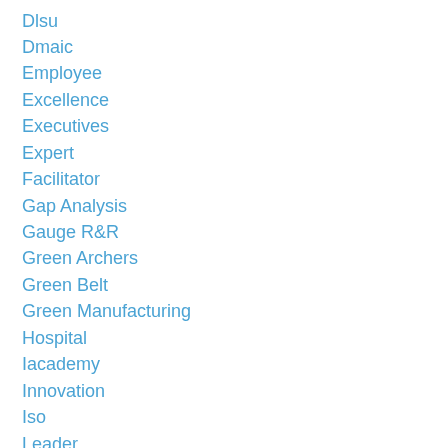Dlsu
Dmaic
Employee
Excellence
Executives
Expert
Facilitator
Gap Analysis
Gauge R&R
Green Archers
Green Belt
Green Manufacturing
Hospital
Iacademy
Innovation
Iso
Leader
Lean
Marjorie Hook
Master Black Belt
Medi...